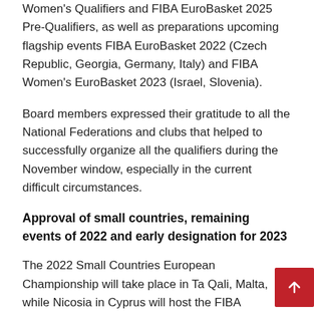Women's Qualifiers and FIBA EuroBasket 2025 Pre-Qualifiers, as well as preparations upcoming flagship events FIBA EuroBasket 2022 (Czech Republic, Georgia, Germany, Italy) and FIBA Women's EuroBasket 2023 (Israel, Slovenia).
Board members expressed their gratitude to all the National Federations and clubs that helped to successfully organize all the qualifiers during the November window, especially in the current difficult circumstances.
Approval of small countries, remaining events of 2022 and early designation for 2023
The 2022 Small Countries European Championship will take place in Ta Qali, Malta, while Nicosia in Cyprus will host the FIBA European Small Countries Women's Championship.
Both events will be played between June 28 and July 3, 2022.
The board also approved all remaining European Junior Championships for next summer and an early designation of